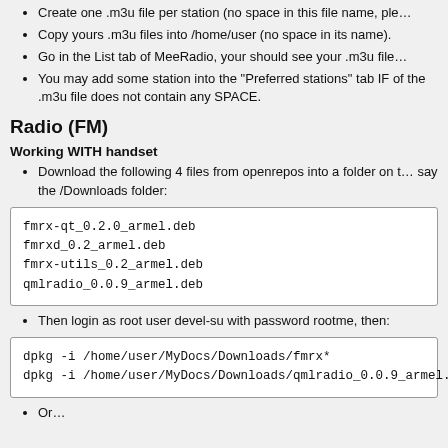Create one .m3u file per station (no space in this file name, ple…
Copy yours .m3u files into /home/user (no space in its name).
Go in the List tab of MeeRadio, your should see your .m3u file…
You may add some station into the "Preferred stations" tab IF of the .m3u file does not contain any SPACE.
Radio (FM)
Working WITH handset
Download the following 4 files from openrepos into a folder on the say the /Downloads folder:
fmrx-qt_0.2.0_armel.deb
fmrxd_0.2_armel.deb
fmrx-utils_0.2_armel.deb
qmlradio_0.0.9_armel.deb
Then login as root user devel-su with password rootme, then:
dpkg -i /home/user/MyDocs/Downloads/fmrx*
dpkg -i /home/user/MyDocs/Downloads/qmlradio_0.0.9_armel.deb
Or…